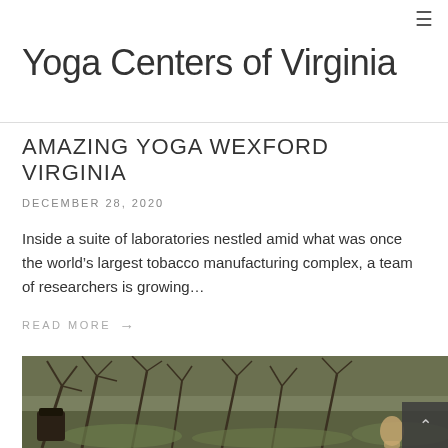≡
Yoga Centers of Virginia
AMAZING YOGA WEXFORD VIRGINIA
DECEMBER 28, 2020
Inside a suite of laboratories nestled amid what was once the world's largest tobacco manufacturing complex, a team of researchers is growing…
READ MORE →
[Figure (photo): Outdoor nature scene with bare tree branches and a person visible in the lower right, with mossy green ground cover]